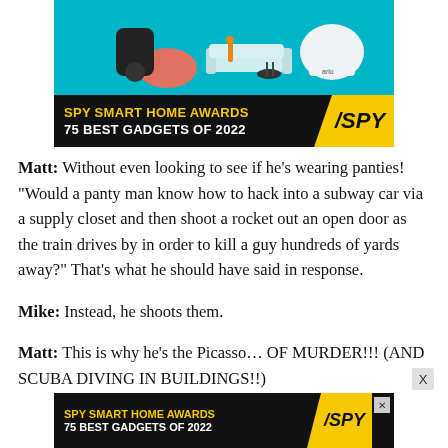[Figure (illustration): Spy Smart Home Awards advertisement banner showing smart home gadgets including a camera, a smart speaker, miniature furniture on a blue background. Bottom bar reads 'SPY SMART HOME AWARDS / 75 BEST GADGETS OF 2022' with yellow/black color scheme and SPY logo.]
Matt: Without even looking to see if he’s wearing panties! “Would a panty man know how to hack into a subway car via a supply closet and then shoot a rocket out an open door as the train drives by in order to kill a guy hundreds of yards away?” That’s what he should have said in response.
Mike: Instead, he shoots them.
Matt: This is why he’s the Picasso… OF MURDER!!! (AND SCUBA DIVING IN BUILDINGS!!)
[Figure (illustration): Spy Smart Home Awards advertisement banner at bottom: 'SPY SMART HOME AWARDS / 75 BEST GADGETS OF 2022' with yellow/black color scheme, SPY logo, and close X button.]